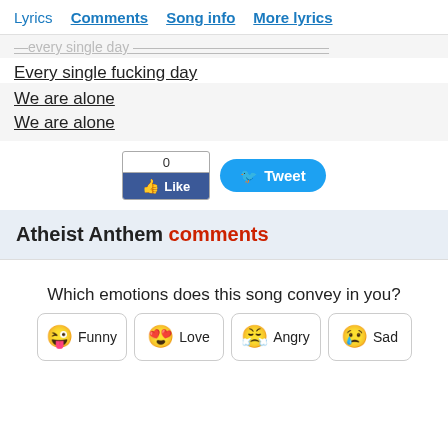Lyrics  Comments  Song info  More lyrics
Every single fucking day
We are alone
We are alone
[Figure (other): Facebook Like button with count 0 and Tweet button]
Atheist Anthem comments
Which emotions does this song convey in you?
[Figure (other): Four emotion buttons: Funny, Love, Angry, Sad with emoji icons]